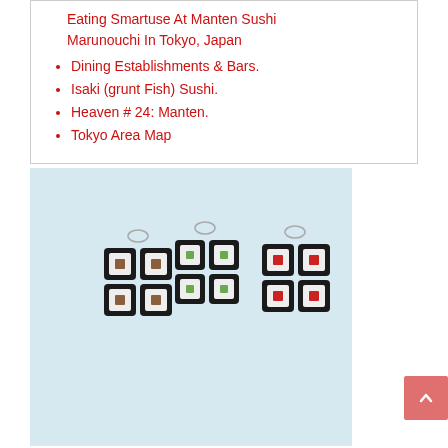Eating Smartuse At Manten Sushi Marunouchi In Tokyo, Japan
Dining Establishments & Bars.
Isaki (grunt Fish) Sushi.
Heaven # 24: Manten.
Tokyo Area Map
[Figure (photo): Three miniature sushi roll keychains (maki roll charms) on a light blue background. Left charm has brown-filled rolls, center has green-filled rolls, right has red-filled rolls, each cluster of 4 rolls attached to a small metal keychain loop.]